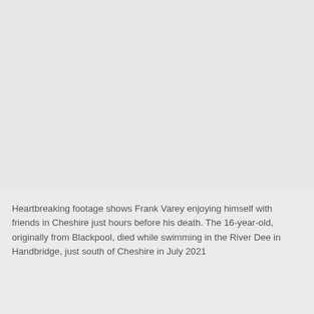[Figure (photo): A large image area occupying the upper portion of the page, showing a light grey background consistent with a photograph placeholder or washed-out image.]
Heartbreaking footage shows Frank Varey enjoying himself with friends in Cheshire just hours before his death. The 16-year-old, originally from Blackpool, died while swimming in the River Dee in Handbridge, just south of Cheshire in July 2021